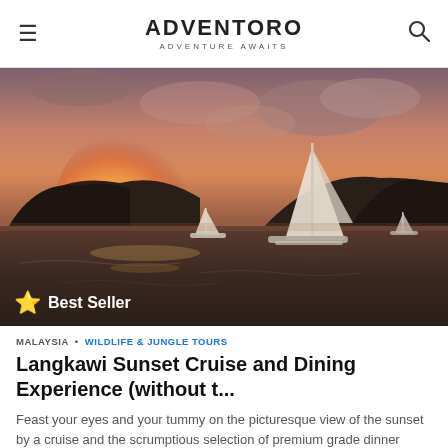ADVENTORO — ADVENTURE AWAITS
[Figure (photo): Sailing boats on calm water at sunset with mountainous silhouette in background and dramatic orange sky. A 'Best Seller' badge with star icon appears in the bottom-left of the image.]
MALAYSIA • WILDLIFE & JUNGLE TOURS
Langkawi Sunset Cruise and Dining Experience (without t...
Feast your eyes and your tummy on the picturesque view of the sunset by a cruise and the scrumptious selection of premium grade dinner prepared for you.